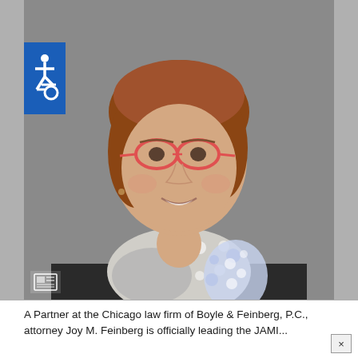[Figure (photo): Professional headshot of Joy M. Feinberg, a woman with short auburn/brown hair, wearing red-framed glasses, a dark blazer, and a patterned blue-and-white scarf. Photo has a gray background. There is a blue accessibility icon (wheelchair symbol) overlaid in the upper left corner, and a small news/article icon in the lower left of the photo.]
A Partner at the Chicago law firm of Boyle & Feinberg, P.C., attorney Joy M. Feinberg is officially leading the JAMI...